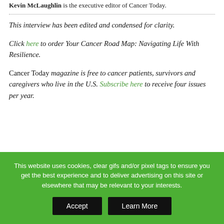Kevin McLaughlin is the executive editor of Cancer Today.
This interview has been edited and condensed for clarity.
Click here to order Your Cancer Road Map: Navigating Life With Resilience.
Cancer Today magazine is free to cancer patients, survivors and caregivers who live in the U.S. Subscribe here to receive four issues per year.
This website uses cookies, clear gifs and/or pixel tags to ensure you get the best experience and to deliver advertising on this site or elsewhere that may be relevant to your interests.